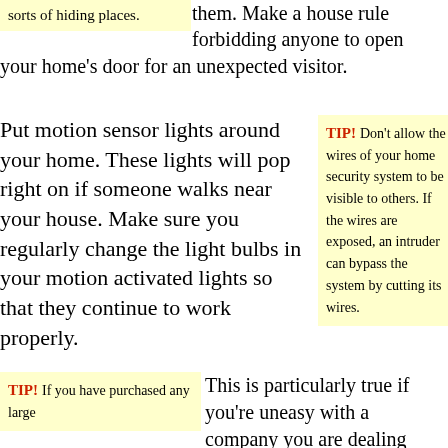sorts of hiding places. them. Make a house rule forbidding anyone to open your home's door for an unexpected visitor.
Put motion sensor lights around your home. These lights will pop right on if someone walks near your house. Make sure you regularly change the light bulbs in your motion activated lights so that they continue to work properly.
TIP! Don't allow the wires of your home security system to be visible to others. If the wires are exposed, an intruder can bypass the system by cutting its wires.
TIP! If you have purchased any large
This is particularly true if you're uneasy with a company you are dealing